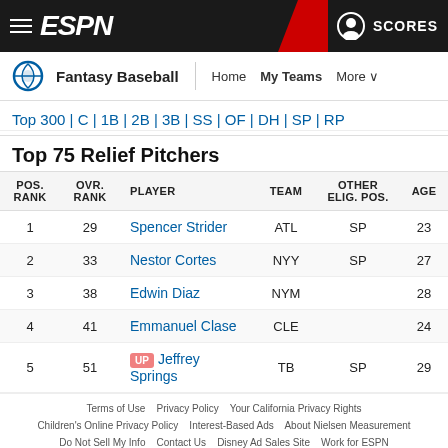ESPN Fantasy Baseball — Home | My Teams | More
Top 300 | C | 1B | 2B | 3B | SS | OF | DH | SP | RP
Top 75 Relief Pitchers
| POS. RANK | OVR. RANK | PLAYER | TEAM | OTHER ELIG. POS. | AGE |
| --- | --- | --- | --- | --- | --- |
| 1 | 29 | Spencer Strider | ATL | SP | 23 |
| 2 | 33 | Nestor Cortes | NYY | SP | 27 |
| 3 | 38 | Edwin Diaz | NYM |  | 28 |
| 4 | 41 | Emmanuel Clase | CLE |  | 24 |
| 5 | 51 | [UP] Jeffrey Springs | TB | SP | 29 |
Terms of Use   Privacy Policy   Your California Privacy Rights   Children's Online Privacy Policy   Interest-Based Ads   About Nielsen Measurement   Do Not Sell My Info   Contact Us   Disney Ad Sales Site   Work for ESPN   Copyright: © ESPN Enterprises, Inc. All rights reserved.